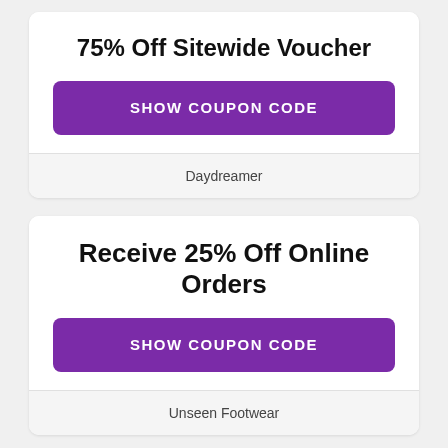75% Off Sitewide Voucher
SHOW COUPON CODE
Daydreamer
Receive 25% Off Online Orders
SHOW COUPON CODE
Unseen Footwear